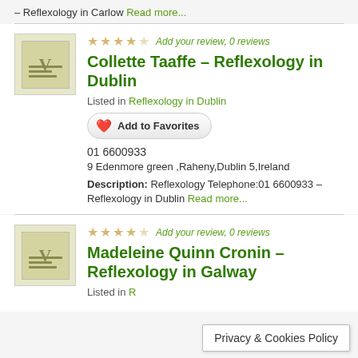– Reflexology in Carlow Read more...
Add your review, 0 reviews
Collette Taaffe – Reflexology in Dublin
Listed in Reflexology in Dublin
Add to Favorites
01 6600933
9 Edenmore green ,Raheny,Dublin 5,Ireland
Description: Reflexology Telephone:01 6600933 – Reflexology in Dublin Read more...
Add your review, 0 reviews
Madeleine Quinn Cronin – Reflexology in Galway
Listed in R
Privacy & Cookies Policy